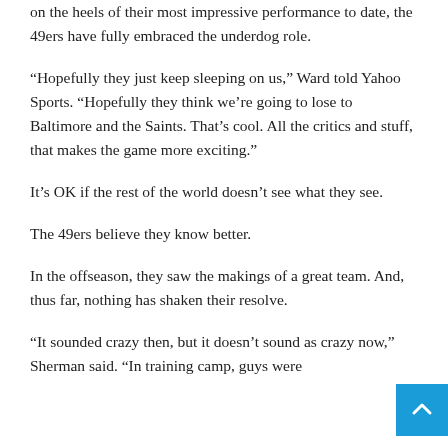on the heels of their most impressive performance to date, the 49ers have fully embraced the underdog role.
“Hopefully they just keep sleeping on us,” Ward told Yahoo Sports. “Hopefully they think we’re going to lose to Baltimore and the Saints. That’s cool. All the critics and stuff, that makes the game more exciting.”
It’s OK if the rest of the world doesn’t see what they see.
The 49ers believe they know better.
In the offseason, they saw the makings of a great team. And, thus far, nothing has shaken their resolve.
“It sounded crazy then, but it doesn’t sound as crazy now,” Sherman said. “In training camp, guys were